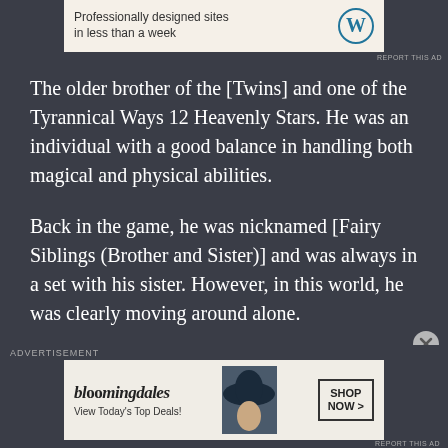[Figure (other): WordPress advertisement banner at top: 'Professionally designed sites in less than a week' with WordPress logo]
The older brother of the [Twins] and one of the Tyrannical Ways 12 Heavenly Stars. He was an individual with a good balance in handling both magical and physical abilities.
Back in the game, he was nicknamed [Fairy Siblings (Brother and Sister)] and was always in a set with his sister. However, in this world, he was clearly moving around alone.
To reflect that, his status was showing something that I could not recall ever seeing.
[Figure (other): Bloomingdale's advertisement banner at bottom: 'View Today's Top Deals!' with woman in hat image and 'SHOP NOW >' button]